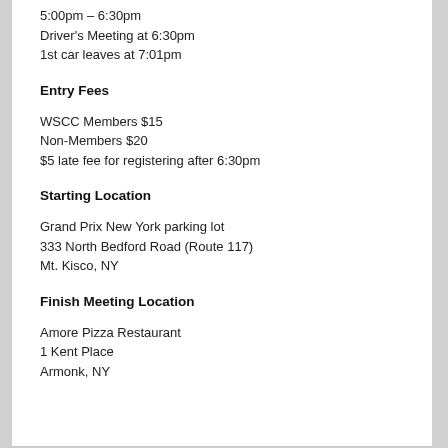5:00pm – 6:30pm
Driver's Meeting at 6:30pm
1st car leaves at 7:01pm
Entry Fees
WSCC Members $15
Non-Members $20
$5 late fee for registering after 6:30pm
Starting Location
Grand Prix New York parking lot
333 North Bedford Road (Route 117)
Mt. Kisco, NY
Finish Meeting Location
Amore Pizza Restaurant
1 Kent Place
Armonk, NY